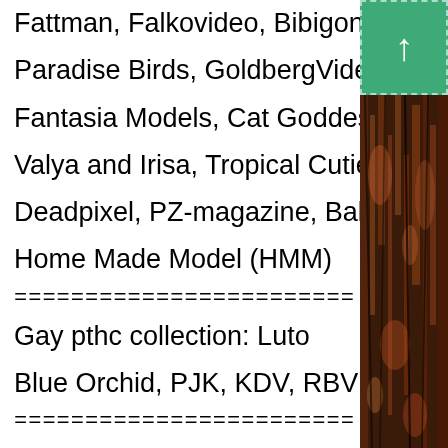Fattman, Falkovideo, Bibigon
Paradise Birds, GoldbergVideo
Fantasia Models, Cat Goddess
Valya and Irisa, Tropical Cuties
Deadpixel, PZ-magazine, BabyJ
Home Made Model (HMM)
========================
Gay pthc collection: Luto
Blue Orchid, PJK, KDV, RBV
========================
Nudism: Naturism in Russia
Helios Natura, Holy Nature
Naturist Freedom, Eurovid
========================
ALL studio collection: from
Acrobatic Nymphets to Your
Lolitas (more 100 studios)
========================
Collection european, asian,
[Figure (photo): Textured bark or wood surface photo on the right side of the page]